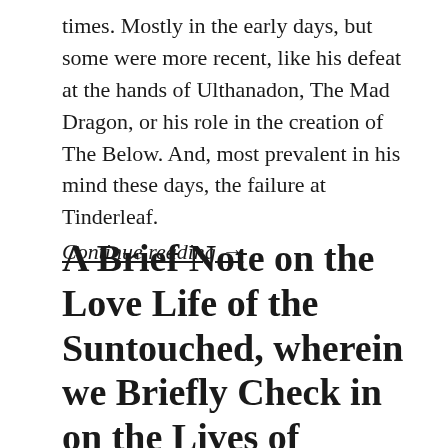times. Mostly in the early days, but some were more recent, like his defeat at the hands of Ulthanadon, The Mad Dragon, or his role in the creation of The Below. And, most prevalent in his mind these days, the failure at Tinderleaf.
Continue reading →
A Brief Note on the Love Life of the Suntouched, wherein we Briefly Check in on the Lives of Donovan Allman and Karessa Plunderton, and